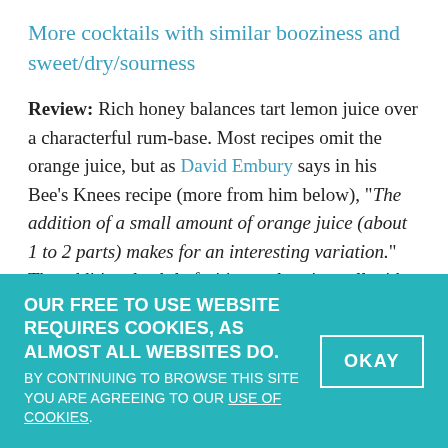More cocktails with similar booziness and sweet/dry/sourness
Review: Rich honey balances tart lemon juice over a characterful rum-base. Most recipes omit the orange juice, but as David Embury says in his Bee's Knees recipe (more from him below), "The addition of a small amount of orange juice (about 1 to 2 parts) makes for an interesting variation." The additional subtle fruitiness also sits well with Jamaican rum funk.
Variant: With light rum this drink becomes a
OUR FREE TO USE WEBSITE REQUIRES COOKIES, AS ALMOST ALL WEBSITES DO. BY CONTINUING TO BROWSE THIS SITE YOU ARE AGREEING TO OUR USE OF COOKIES. OKAY